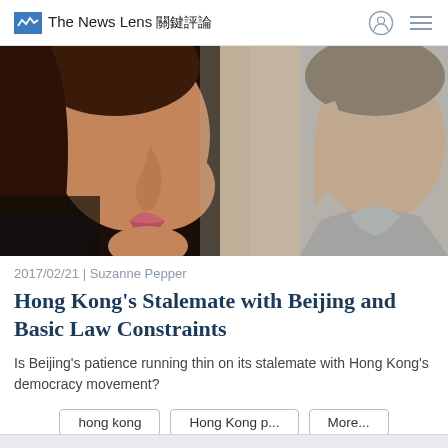The News Lens 關鍵評論
[Figure (photo): Close-up photo of two people in profile — a woman on the left with long hair and a man on the right wearing a blue shirt, both looking forward, dark background]
2017/02/21 | Suzanne Pepper
Hong Kong's Stalemate with Beijing and Basic Law Constraints
Is Beijing's patience running thin on its stalemate with Hong Kong's democracy movement?
hong kong
Hong Kong p...
More...